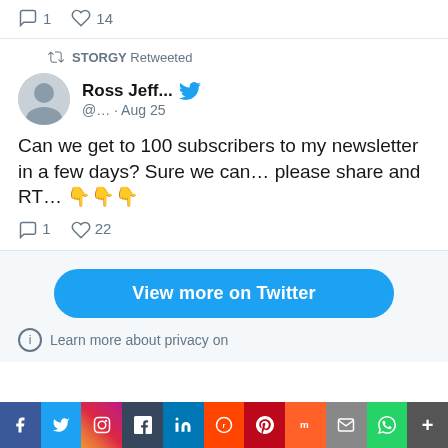[Figure (screenshot): Top portion of a tweet showing comment and like counts: 1 comment, 14 likes]
STORGY Retweeted
Ross Jeff... @... · Aug 25
Can we get to 100 subscribers to my newsletter in a few days? Sure we can… please share and RT… 👇👇👇
1 comment, 22 likes
View more on Twitter
Learn more about privacy on
[Figure (infographic): Social media sharing bar with Facebook, Twitter, Instagram, Tumblr, LinkedIn, Reddit, Pinterest, Mix, Email, WhatsApp, More buttons]